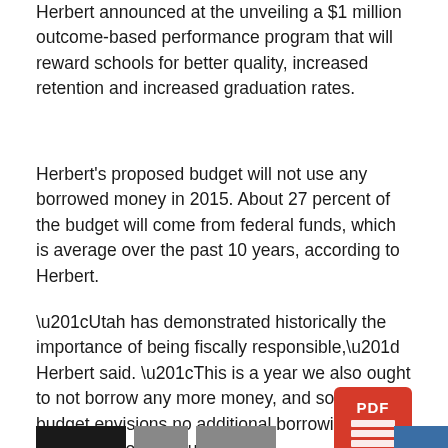Herbert announced at the unveiling a $1 million outcome-based performance program that will reward schools for better quality, increased retention and increased graduation rates.
Herbert's proposed budget will not use any borrowed money in 2015. About 27 percent of the budget will come from federal funds, which is average over the past 10 years, according to Herbert.
“Utah has demonstrated historically the importance of being fiscally responsible,” Herbert said. “This is a year we also ought to not borrow any more money, and so my budget envisions no additional borrowing and no additional bonding.”
[Figure (other): PDF document icon in red/orange square]